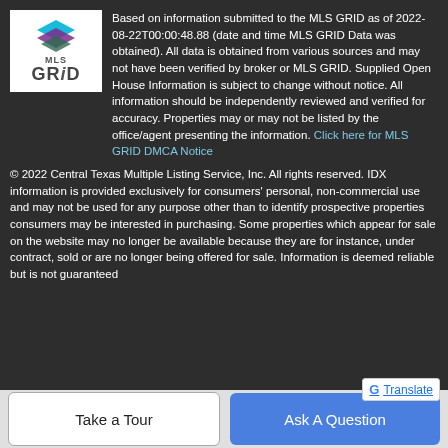[Figure (logo): MLS GRID logo — white rectangle with colored diamond/stack icon above 'MLS' text and stylized 'GRiD' text]
Based on information submitted to the MLS GRID as of 2022-08-22T00:00:48.88 (date and time MLS GRID Data was obtained). All data is obtained from various sources and may not have been verified by broker or MLS GRID. Supplied Open House Information is subject to change without notice. All information should be independently reviewed and verified for accuracy. Properties may or may not be listed by the office/agent presenting the information. Click here for MLS GRID DMCA Notice
© 2022 Central Texas Multiple Listing Service, Inc. All rights reserved. IDX information is provided exclusively for consumers' personal, non-commercial use and may not be used for any purpose other than to identify prospective properties consumers may be interested in purchasing. Some properties which appear for sale on the website may no longer be available because they are for instance, under contract, sold or are no longer being offered for sale. Information is deemed reliable but is not guaranteed